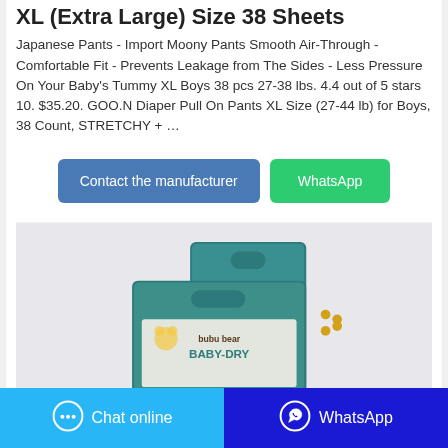XL (Extra Large) Size 38 Sheets
Japanese Pants - Import Moony Pants Smooth Air-Through - Comfortable Fit - Prevents Leakage from The Sides - Less Pressure On Your Baby's Tummy XL Boys 38 pcs 27-38 lbs. 4.4 out of 5 stars 10. $35.20. GOO.N Diaper Pull On Pants XL Size (27-44 lb) for Boys, 38 Count, STRETCHY + …
[Figure (other): Two buttons: 'Contact the manufacturer' (blue) and 'WhatsApp' (green)]
[Figure (photo): Product image showing bubu bear BABY-DRY diaper packaging boxes in teal/dark green color]
[Figure (other): Bottom navigation bar with 'Chat online' button (light blue with chat icon) and 'WhatsApp' button (dark blue with WhatsApp icon)]